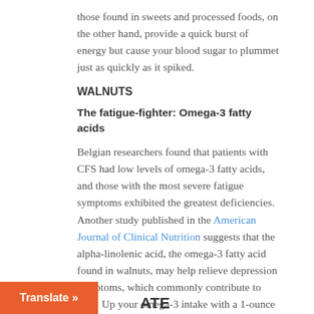those found in sweets and processed foods, on the other hand, provide a quick burst of energy but cause your blood sugar to plummet just as quickly as it spiked.
WALNUTS
The fatigue-fighter: Omega-3 fatty acids
Belgian researchers found that patients with CFS had low levels of omega-3 fatty acids, and those with the most severe fatigue symptoms exhibited the greatest deficiencies. Another study published in the American Journal of Clinical Nutrition suggests that the alpha-linolenic acid, the omega-3 fatty acid found in walnuts, may help relieve depression symptoms, which commonly contribute to CFS. Up your omega-3 intake with a 1-ounce serving (1/4 cup, shelled) of walnuts for 190 calories.
Translate »
ATE